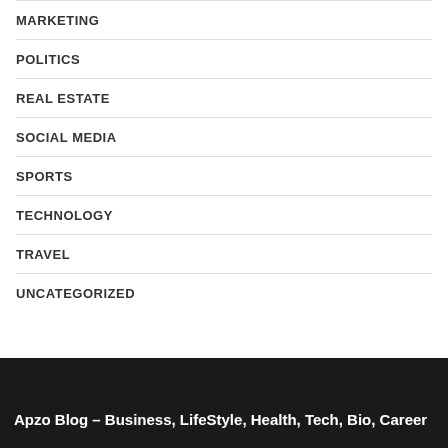MARKETING
POLITICS
REAL ESTATE
SOCIAL MEDIA
SPORTS
TECHNOLOGY
TRAVEL
UNCATEGORIZED
Apzo Blog – Business, LifeStyle, Health, Tech, Bio, Career